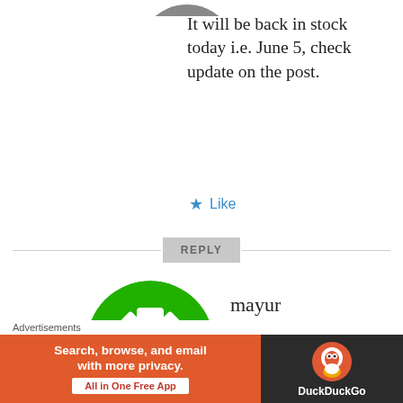It will be back in stock today i.e. June 5, check update on the post.
Like
REPLY
[Figure (illustration): Green decorative circular avatar icon with geometric pattern]
mayur
JUNE 4, 2014 AT 4:49 PM
any idea when is the new stock of moto E coming, it is really hard to stay
Advertisements
[Figure (screenshot): DuckDuckGo advertisement banner: Search, browse, and email with more privacy. All in One Free App. DuckDuckGo logo on dark background.]